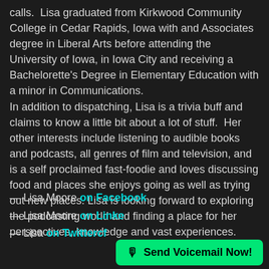calls.  Lisa graduated from Kirkwood Community College in Cedar Rapids, Iowa with and Associates degree in Liberal Arts before attending the University of Iowa, in Iowa City and receiving a Bachelorette's Degree in Elementary Education with a minor in Communications.
In addition to dispatching, Lisa is a trivia buff and claims to know a little bit about a lot of stuff.  Her other interests include listening to audible books and podcasts, all genres of film and television, and is a self proclaimed fast-foodie and loves discussing food and places she enjoys going as well as trying out new places. Lisa is looking forward to exploring the podcasting world and finding a place for her perspectives, knowledge and vast experiences.
— Lisa Moore on Facebook
— Lisa Moore on Linke…
— Lisa on Twittercf…
[Figure (other): Green 'Send Voicemail Now!' button with microphone icon overlay in bottom-right corner]